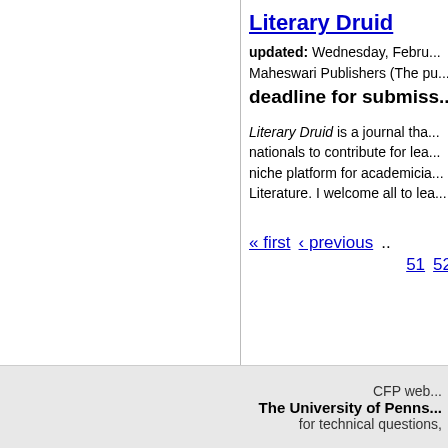Literary Druid
updated: Wednesday, Febru...
Maheswari Publishers (The pu...
deadline for submiss...
Literary Druid is a journal tha... nationals to contribute for lea... niche platform for academicia... Literature. I welcome all to lea...
« first  ‹ previous  ...  51  52
CFP web... The University of Penns... for technical questions,